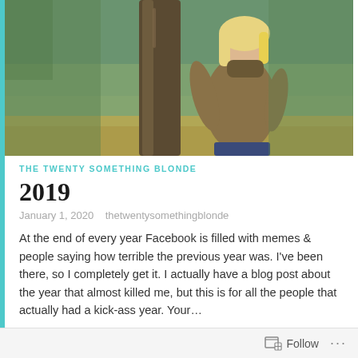[Figure (photo): Blonde woman leaning against a large tree trunk in an outdoor wooded/grassy setting, wearing a brown knit sweater]
THE TWENTY SOMETHING BLONDE
2019
January 1, 2020   thetwentysomethingblonde
At the end of every year Facebook is filled with memes & people saying how terrible the previous year was. I've been there, so I completely get it. I actually have a blog post about the year that almost killed me, but this is for all the people that actually had a kick-ass year. Your…
Continue reading
Follow ...